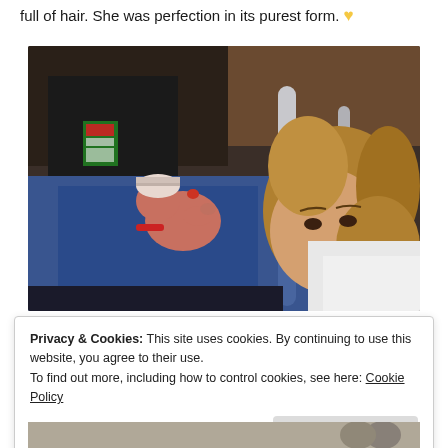full of hair. She was perfection in its purest form. 💛
[Figure (photo): A woman lying in a hospital bed holding a newborn baby wrapped in a blue blanket with a striped hat. A person in a black shirt with a badge stands nearby in the background.]
Privacy & Cookies: This site uses cookies. By continuing to use this website, you agree to their use.
To find out more, including how to control cookies, see here: Cookie Policy
Close and accept